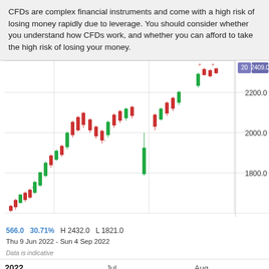CFDs are complex financial instruments and come with a high risk of losing money rapidly due to leverage. You should consider whether you understand how CFDs work, and whether you can afford to take the high risk of losing your money.
[Figure (continuous-plot): Candlestick chart showing price movement from approximately June 9 to September 4, 2022. Price rises from around 1821 to a high of 2432. Y-axis labels: 1800.0, 2000.0, 2200.0. A price label badge shows '20' and '2409.0'. X-axis shows 2022, Jul, Aug, Sep. Stats: 566.0, 30.71%, H 2432.0, L 1821.0. Date range: Thu 9 Jun 2022 - Sun 4 Sep 2022. Data is indicative.]
[Figure (continuous-plot): Mini overview/navigator chart showing historical price from 2019 to 2022 with a highlighted region for the current view period (2022). Light blue area chart.]